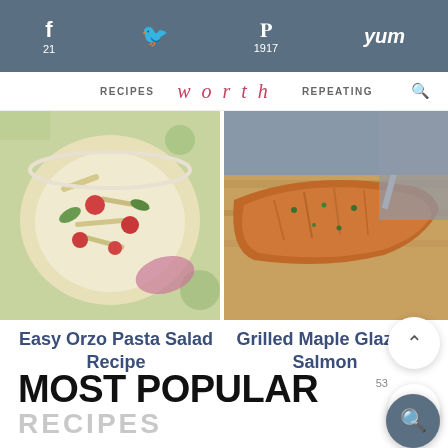f 21   [twitter]   P 1917   Yum
RECIPES   w o r t h   REPEATING
[Figure (photo): Overhead shot of orzo pasta salad with cherry tomatoes in a white bowl]
[Figure (photo): Grilled maple glazed salmon fillet on a wooden board with a fork]
Easy Orzo Pasta Salad Recipe
Grilled Maple Glazed Salmon
MOST POPULAR
RECIPES